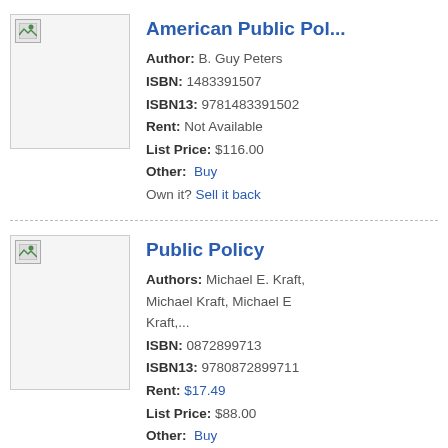[Figure (other): Book cover placeholder image for American Public Pol...]
American Public Pol...
Author: B. Guy Peters
ISBN: 1483391507
ISBN13: 9781483391502
Rent: Not Available
List Price: $116.00
Other: Buy
Own it? Sell it back
[Figure (other): Book cover placeholder image for Public Policy]
Public Policy
Authors: Michael E. Kraft, Michael Kraft, Michael E Kraft,...
ISBN: 0872899713
ISBN13: 9780872899711
Rent: $17.49
List Price: $88.00
Other: Buy
Own it? Sell it back